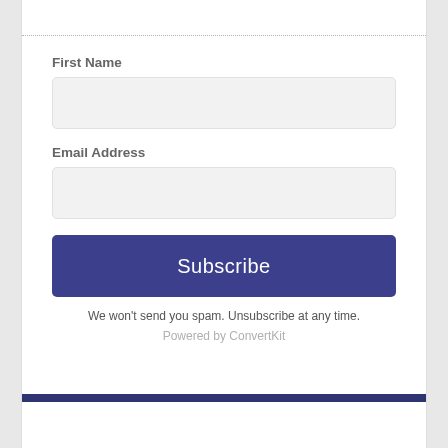First Name
[Figure (screenshot): Empty text input field for First Name]
Email Address
[Figure (screenshot): Empty text input field for Email Address]
Subscribe
We won't send you spam. Unsubscribe at any time.
Powered by ConvertKit